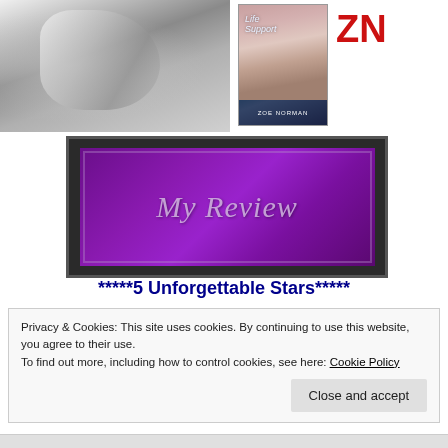[Figure (photo): Black and white close-up photo of a person's torso/body, abstract and artistic]
[Figure (photo): Book cover for 'Life Support' by Zoe Norman, showing a romantic couple]
[Figure (logo): ZN logo in red block letters on white background]
[Figure (illustration): Purple 'My Review' banner with decorative italic script text on a dark bordered background]
*****5 Unforgettable Stars*****
Privacy & Cookies: This site uses cookies. By continuing to use this website, you agree to their use.
To find out more, including how to control cookies, see here: Cookie Policy
Close and accept